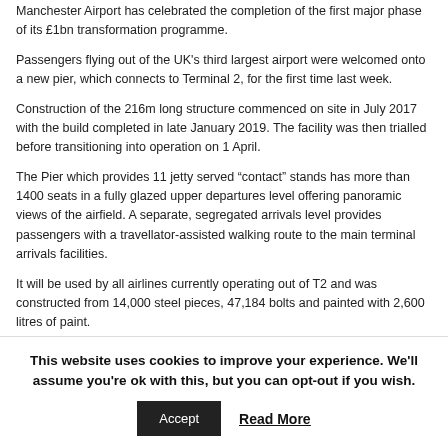Manchester Airport has celebrated the completion of the first major phase of its £1bn transformation programme.
Passengers flying out of the UK's third largest airport were welcomed onto a new pier, which connects to Terminal 2, for the first time last week.
Construction of the 216m long structure commenced on site in July 2017 with the build completed in late January 2019. The facility was then trialled before transitioning into operation on 1 April.
The Pier which provides 11 jetty served “contact” stands has more than 1400 seats in a fully glazed upper departures level offering panoramic views of the airfield. A separate, segregated arrivals level provides passengers with a travellator-assisted walking route to the main terminal arrivals facilities.
It will be used by all airlines currently operating out of T2 and was constructed from 14,000 steel pieces, 47,184 bolts and painted with 2,600 litres of paint.
In preparation for the pier, the apron was extended by 49,000 m² to accommodate new aircraft parking stands, along with the construction of a
This website uses cookies to improve your experience. We'll assume you're ok with this, but you can opt-out if you wish.